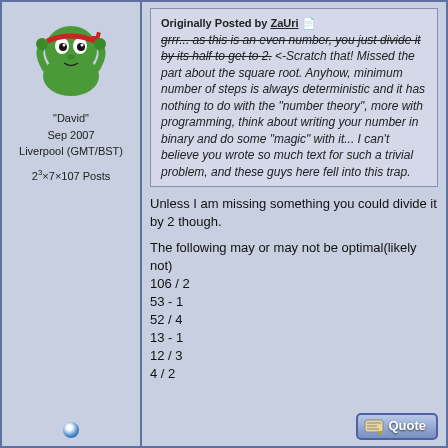[Figure (illustration): Avatar of a cartoon green frog/ninja character with a red headband]
"David"
Sep 2007
Liverpool (GMT/BST)
2^3×7×107 Posts
Originally Posted by ZaUri [strikethrough: grrr... as this is an even number, you just divide it by its half to get to 2.] <-Scratch that! Missed the part about the square root. Anyhow, minimum number of steps is always deterministic and it has nothing to do with the "number theory", more with programming, think about writing your number in binary and do some "magic" with it... I can't believe you wrote so much text for such a trivial problem, and these guys here fell into this trap.
Unless I am missing something you could divide it by 2 though.
The following may or may not be optimal(likely not)
106 / 2
53 - 1
52 / 4
13 - 1
12 / 3
4 / 2